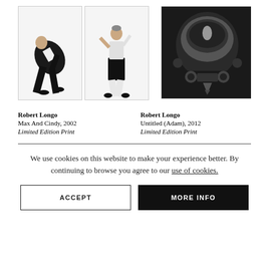[Figure (photo): Two black-and-white photographs side by side: left shows a man in dark suit bending forward, right shows a woman in white top and black skirt walking]
[Figure (photo): Black-and-white photograph of a robot or mechanical face/skull with reflective helmet visor]
Robert Longo
Max And Cindy, 2002
Limited Edition Print
Robert Longo
Untitled (Adam), 2012
Limited Edition Print
We use cookies on this website to make your experience better. By continuing to browse you agree to our use of cookies.
ACCEPT
MORE INFO